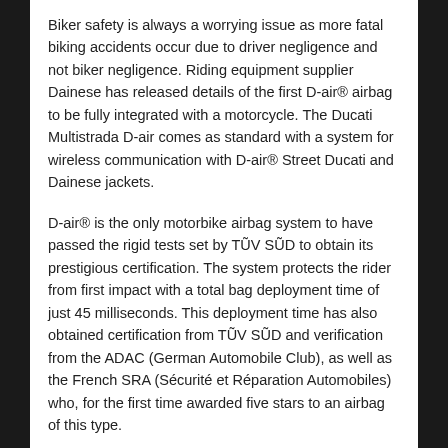Biker safety is always a worrying issue as more fatal biking accidents occur due to driver negligence and not biker negligence. Riding equipment supplier Dainese has released details of the first D-air® airbag to be fully integrated with a motorcycle. The Ducati Multistrada D-air comes as standard with a system for wireless communication with D-air® Street Ducati and Dainese jackets.
D-air® is the only motorbike airbag system to have passed the rigid tests set by TŨV SŨD to obtain its prestigious certification. The system protects the rider from first impact with a total bag deployment time of just 45 milliseconds. This deployment time has also obtained certification from TŨV SŨD and verification from the ADAC (German Automobile Club), as well as the French SRA (Sécurité et Réparation Automobiles) who, for the first time awarded five stars to an airbag of this type.
The creation of the Multistrada D-air is the result of a partnership between Ducati and Dainese, which is a very significant step in motorcyclist safety. For the first time